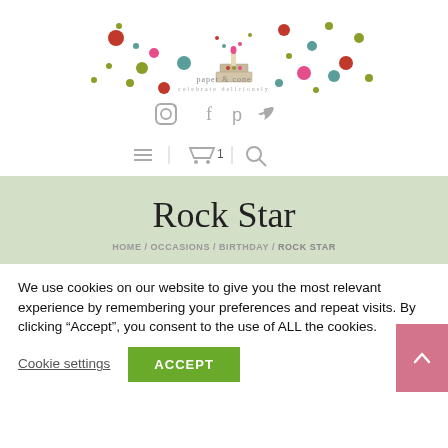[Figure (logo): Paper & Cone bakery logo with colorful confetti dots and a cake icon]
[Figure (infographic): Social media icons row: Instagram, Facebook, Pinterest, Twitter]
[Figure (infographic): Navigation bar with hamburger menu, cart with count 1, and search icon]
Rock Star
HOME / OCCASIONS / BIRTHDAY / ROCK STAR
We use cookies on our website to give you the most relevant experience by remembering your preferences and repeat visits. By clicking “Accept”, you consent to the use of ALL the cookies.
Cookie settings   ACCEPT